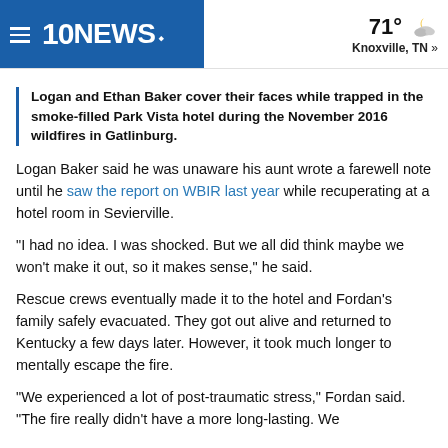10NEWS NBC — 71° Knoxville, TN »
Logan and Ethan Baker cover their faces while trapped in the smoke-filled Park Vista hotel during the November 2016 wildfires in Gatlinburg.
Logan Baker said he was unaware his aunt wrote a farewell note until he saw the report on WBIR last year while recuperating at a hotel room in Sevierville.
"I had no idea. I was shocked. But we all did think maybe we won't make it out, so it makes sense," he said.
Rescue crews eventually made it to the hotel and Fordan's family safely evacuated. They got out alive and returned to Kentucky a few days later. However, it took much longer to mentally escape the fire.
"We experienced a lot of post-traumatic stress," Fordan said. "The fire really did have a more long-lasting. We…